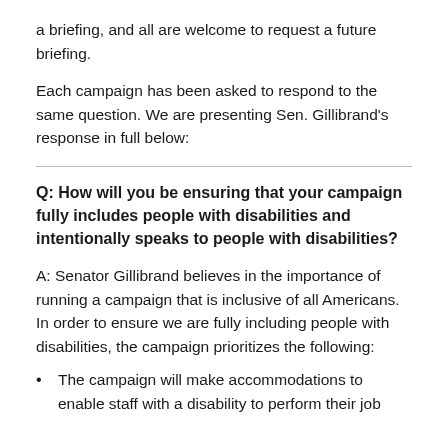a briefing, and all are welcome to request a future briefing.
Each campaign has been asked to respond to the same question. We are presenting Sen. Gillibrand’s response in full below:
Q: How will you be ensuring that your campaign fully includes people with disabilities and intentionally speaks to people with disabilities?
A: Senator Gillibrand believes in the importance of running a campaign that is inclusive of all Americans. In order to ensure we are fully including people with disabilities, the campaign prioritizes the following:
The campaign will make accommodations to enable staff with a disability to perform their job